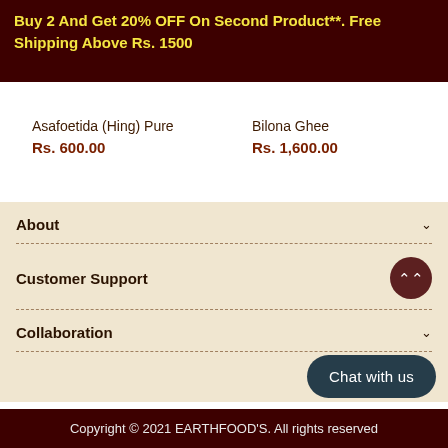Buy 2 And Get 20% OFF On Second Product**. Free Shipping Above Rs. 1500
Asafoetida (Hing) Pure
Rs. 600.00
Bilona Ghee
Rs. 1,600.00
About
Customer Support
Collaboration
Chat with us
Copyright © 2021 EARTHFOOD'S. All rights reserved